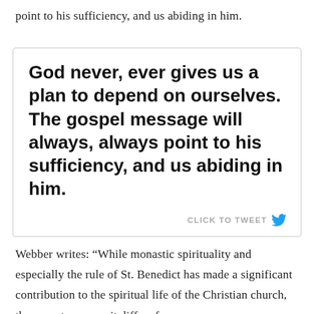point to his sufficiency, and us abiding in him.
[Figure (screenshot): Tweet box with bold quote: 'God never, ever gives us a plan to depend on ourselves. The gospel message will always, always point to his sufficiency, and us abiding in him.' with a 'CLICK TO TWEET' button and Twitter bird icon.]
Webber writes: “While monastic spirituality and especially the rule of St. Benedict has made a significant contribution to the spiritual life of the Christian church, there are two ways it differs from